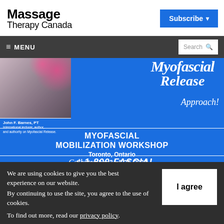Massage Therapy Canada
[Figure (screenshot): Subscribe button with dropdown arrow, blue background]
[Figure (screenshot): Navigation bar with hamburger MENU and search box]
[Figure (infographic): Myofascial Release advertisement banner. Shows John F. Barnes PT, International lecturer, author, and authority on Myofascial Release. MYOFASCIAL MOBILIZATION WORKSHOP, Toronto, Ontario, September 24 & 25, 2022. Call 1-800-FASCIAL. Blue background.]
We are using cookies to give you the best experience on our website. By continuing to use the site, you agree to the use of cookies. To find out more, read our privacy policy.
[Figure (screenshot): I agree button, white background with bold text]